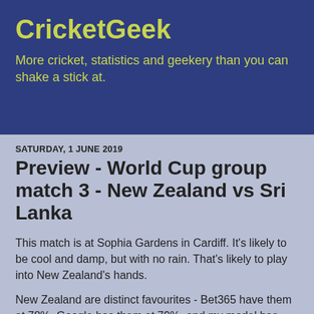CricketGeek
More cricket, statistics and geekery than you can shake a stick at.
SATURDAY, 1 JUNE 2019
Preview - World Cup group match 3 - New Zealand vs Sri Lanka
This match is at Sophia Gardens in Cardiff. It's likely to be cool and damp, but with no rain. That's likely to play into New Zealand's hands.
New Zealand are distinct favourites - Bet365 have them at 78%, Google has them at 79%, and my model has New Zealand at 81%. However, none of those are at 100%, and the match isn't played on paper. Sri Lanka are still capable